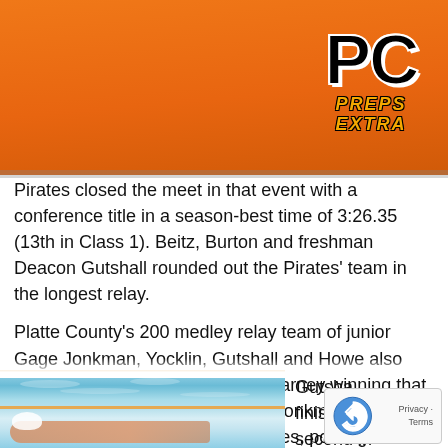PC PREPS EXTRA
Pirates closed the meet in that event with a conference title in a season-best time of 3:26.35 (13th in Class 1). Beitz, Burton and freshman Deacon Gutshall rounded out the Pirates' team in the longest relay.
Platte County's 200 medley relay team of junior Gage Jonkman, Yocklin, Gutshall and Howe also finished second (1:47.94) with Kearney winning that race and the 200 freestyle relay. Jonkman added a pair of third-place individual finishes, posting a Tate time in the 500 freestyle (5:27.89) and improving his team-best time in the 100 backstroke to 59.46.
[Figure (photo): Swimmer in pool, overhead view showing swimmer and blue water]
Gutsha... finished... second in...